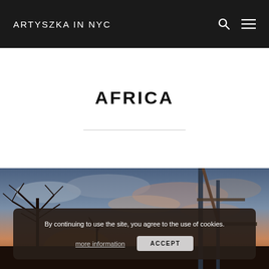ARTYSZKA IN NYC
AFRICA
[Figure (photo): Sunset landscape with bare trees silhouetted against an orange and blue cloudy sky, with metal poles/structure visible on the right side]
By continuing to use the site, you agree to the use of cookies.
more information
ACCEPT